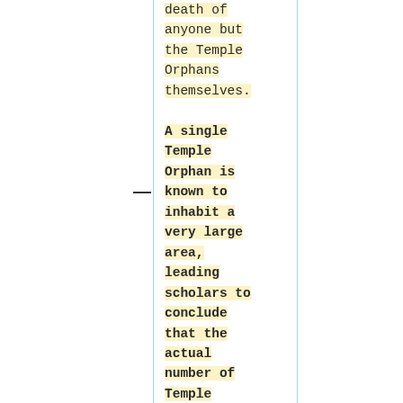death of anyone but the Temple Orphans themselves. A single Temple Orphan is known to inhabit a very large area, leading scholars to conclude that the actual number of Temple Orphans on Aloria is very small,